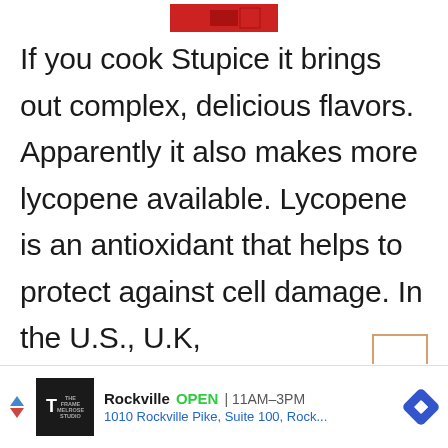[Figure (logo): Red rectangular logo/banner at top center]
If you cook Stupice it brings out complex, delicious flavors. Apparently it also makes more lycopene available. Lycopene is an antioxidant that helps to protect against cell damage. In the U.S., U.K,
[Figure (other): Advertisement banner: Rockville OPEN 11AM-3PM, 1010 Rockville Pike, Suite 100, Rock... with The Frame Melrose Studio logo and navigation arrow]